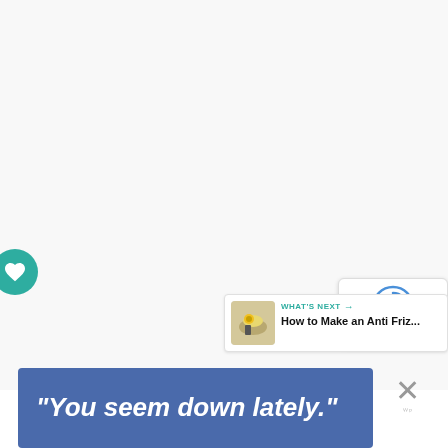[Figure (screenshot): A webpage screenshot showing a mostly white/light gray content area with UI overlay elements in the bottom-right corner: a teal heart button, a share panel with circular arrow icon, privacy/terms text, a 'What's Next' card showing 'How to Make an Anti Friz...' with a thumbnail, and a close (X) button. At the bottom left is a blue banner with white italic bold text reading: "You seem down lately."]